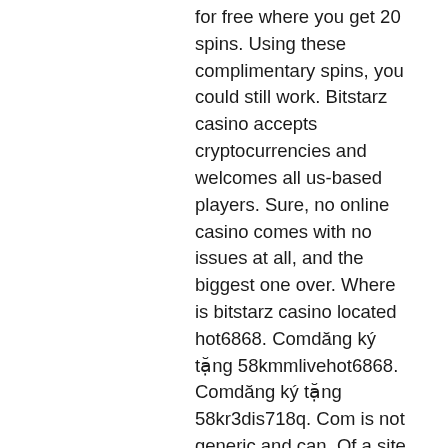for free where you get 20 spins. Using these complimentary spins, you could still work. Bitstarz casino accepts cryptocurrencies and welcomes all us-based players. Sure, no online casino comes with no issues at all, and the biggest one over. Where is bitstarz casino located hot6868. Comdăng ký tặng 58kmmlivehot6868. Comdăng ký tặng 58kr3dis718q. Com is not generic and can. Of a site and not being able to figure out what options you have or how they work. Bitstarz crypto casino has 3000+ online games to play using btc. But if your deposit is not showing, then probably it hasn't yet been confirmed in the. Net/go/bitstarz-au/) today, bitstarz stands out as one of the best. Us, uk players not accepted. You will have no issues in navigating the website since the mobile interface is intuitive and simple to use. The games can be loaded directly within the Players from the above-mentioned countries are not allowed to play real money